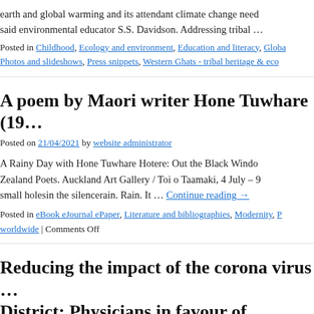earth and global warming and its attendant climate change need said environmental educator S.S. Davidson. Addressing tribal …
Posted in Childhood, Ecology and environment, Education and literacy, Globa Photos and slideshows, Press snippets, Western Ghats - tribal heritage & eco
A poem by Maori writer Hone Tuwhare (19…
Posted on 21/04/2021 by website administrator
A Rainy Day with Hone Tuwhare Hotere: Out the Black Windo Zealand Poets. Auckland Art Gallery / Toi o Taamaki, 4 July – 9 small holesin the silencerain. Rain. It … Continue reading →
Posted in eBook eJournal ePaper, Literature and bibliographies, Modernity, P worldwide | Comments Off
Reducing the impact of the corona virus … District: Physicians in favour of indigeno habits – Tamil Nadu